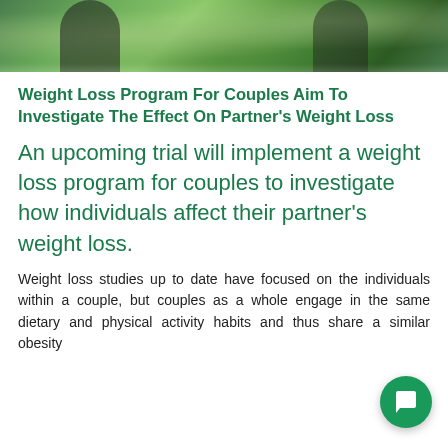[Figure (photo): Outdoor photo of a couple in nature with green foliage background, partially cropped at top]
Weight Loss Program For Couples Aim To Investigate The Effect On Partner's Weight Loss
An upcoming trial will implement a weight loss program for couples to investigate how individuals affect their partner's weight loss.
Weight loss studies up to date have focused on the individuals within a couple, but couples whole engage in the same dietary and physical activity habits and thus share a similar obesity